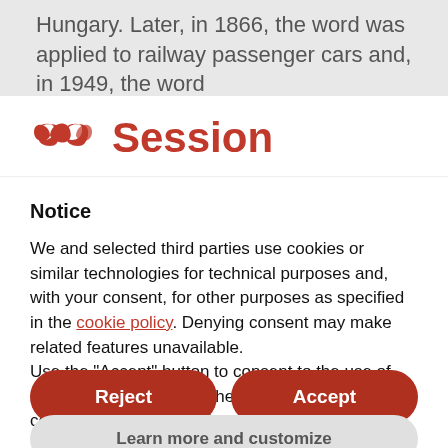Hungary. Later, in 1866, the word was applied to railway passenger cars and, in 1949, the word
[Figure (logo): Session app logo — two interlocking red curved shapes resembling a stylized infinity or loop symbol, followed by the word 'Session' in bold red text]
Notice
We and selected third parties use cookies or similar technologies for technical purposes and, with your consent, for other purposes as specified in the cookie policy. Denying consent may make related features unavailable.
Use the "Accept" button to consent to the use of such technologies. Use the "Reject" button to continue without accepting.